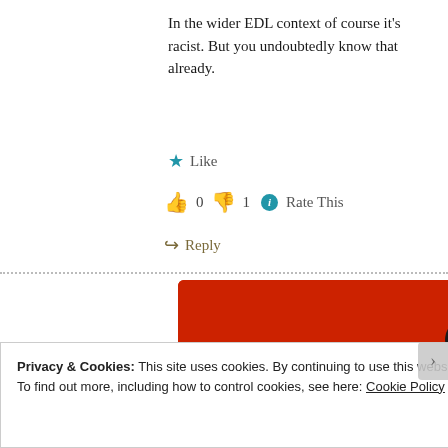In the wider EDL context of course it's racist. But you undoubtedly know that already.
★ Like
👍 0 👎 1 ℹ Rate This
↪ Reply
[Figure (photo): Red smartphone showing media player controls with pause button, on red background]
Privacy & Cookies: This site uses cookies. By continuing to use this website, you agree to their use. To find out more, including how to control cookies, see here: Cookie Policy
Close and accept